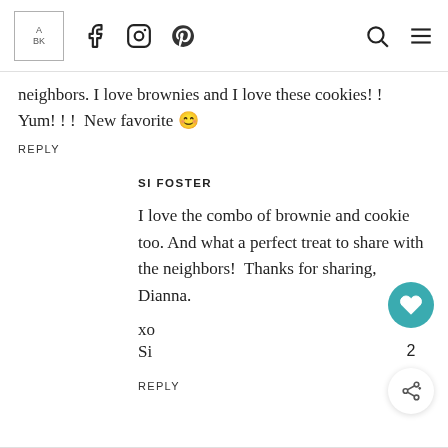A BK | Facebook | Instagram | Pinterest | Search | Menu
neighbors. I love brownies and I love these cookies!! Yum!!! New favorite 😊
REPLY
SI FOSTER
I love the combo of brownie and cookie too. And what a perfect treat to share with the neighbors! Thanks for sharing, Dianna.

xo

Si
REPLY